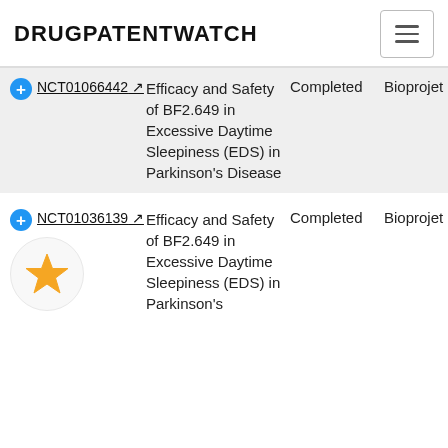DRUGPATENTWATCH
| ID | Title | Status | Sponsor |
| --- | --- | --- | --- |
| NCT01066442 ↗ | Efficacy and Safety of BF2.649 in Excessive Daytime Sleepiness (EDS) in Parkinson's Disease | Completed | Bioprojet |
| NCT01036139 ↗ | Efficacy and Safety of BF2.649 in Excessive Daytime Sleepiness (EDS) in Parkinson's | Completed | Bioprojet |